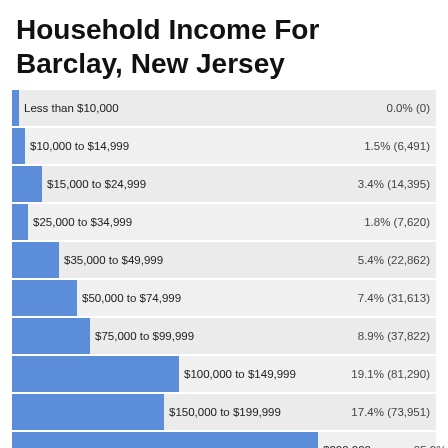Household Income For Barclay, New Jersey
[Figure (bar-chart): Household Income For Barclay, New Jersey]
| Income | Barclay | NJ | USA |
| --- | --- | --- | --- |
| Less than $10,000 | 0.0% | 4.9% | 6.0% |